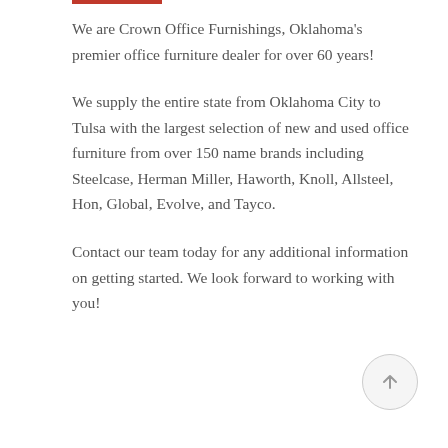We are Crown Office Furnishings, Oklahoma's premier office furniture dealer for over 60 years!
We supply the entire state from Oklahoma City to Tulsa with the largest selection of new and used office furniture from over 150 name brands including Steelcase, Herman Miller, Haworth, Knoll, Allsteel, Hon, Global, Evolve, and Tayco.
Contact our team today for any additional information on getting started. We look forward to working with you!